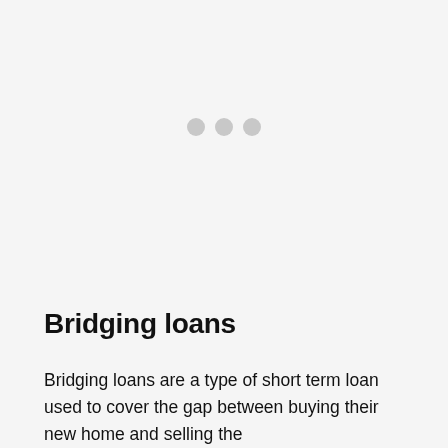[Figure (other): Three grey loading dots centered in the upper portion of the page, indicating content is loading.]
Bridging loans
Bridging loans are a type of short term loan used to cover the gap between buying their new home and selling the